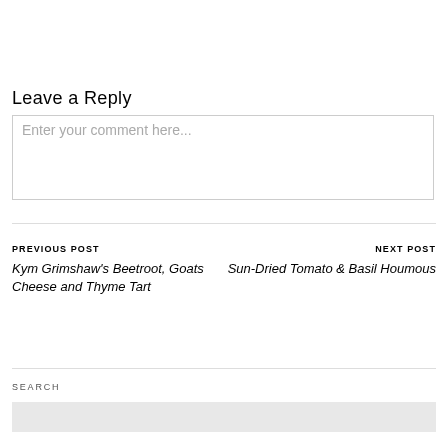Leave a Reply
Enter your comment here...
PREVIOUS POST
NEXT POST
Kym Grimshaw's Beetroot, Goats Cheese and Thyme Tart
Sun-Dried Tomato & Basil Houmous
SEARCH